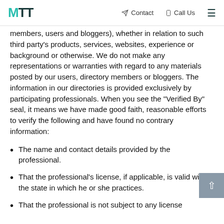MTT | Contact | Call Us
members, users and bloggers), whether in relation to such third party's products, services, websites, experience or background or otherwise. We do not make any representations or warranties with regard to any materials posted by our users, directory members or bloggers. The information in our directories is provided exclusively by participating professionals. When you see the "Verified By" seal, it means we have made good faith, reasonable efforts to verify the following and have found no contrary information:
The name and contact details provided by the professional.
That the professional's license, if applicable, is valid within the state in which he or she practices.
That the professional is not subject to any license